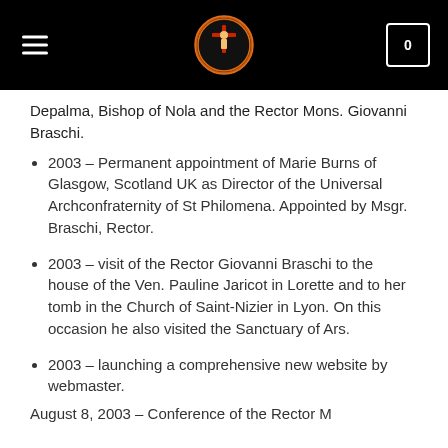Navigation header with logo and cart
Depalma, Bishop of Nola and the Rector Mons. Giovanni Braschi.
2003 – Permanent appointment of Marie Burns of Glasgow, Scotland UK as Director of the Universal Archconfraternity of St Philomena. Appointed by Msgr. Braschi, Rector.
2003 – visit of the Rector Giovanni Braschi to the house of the Ven. Pauline Jaricot in Lorette and to her tomb in the Church of Saint-Nizier in Lyon. On this occasion he also visited the Sanctuary of Ars.
2003 – launching a comprehensive new website by webmaster.
August 8, 2003 – Conference of the Rector M…